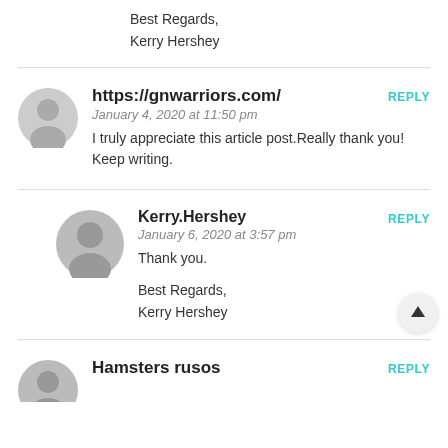Best Regards,
Kerry Hershey
https://gnwarriors.com/
January 4, 2020 at 11:50 pm
I truly appreciate this article post.Really thank you! Keep writing.
Kerry.Hershey
January 6, 2020 at 3:57 pm
Thank you.

Best Regards,
Kerry Hershey
Hamsters rusos